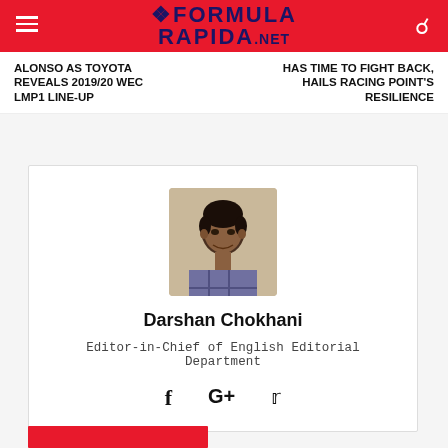FORMULA RAPIDA.NET
ALONSO AS TOYOTA REVEALS 2019/20 WEC LMP1 LINE-UP
HAS TIME TO FIGHT BACK, HAILS RACING POINT'S RESILIENCE
[Figure (photo): Author profile photo of Darshan Chokhani]
Darshan Chokhani
Editor-in-Chief of English Editorial Department